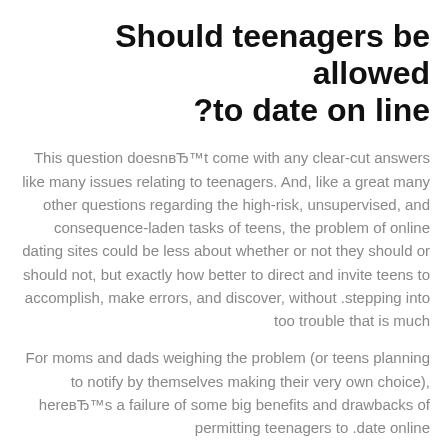Should teenagers be allowed to date on line?
This question doesnвЂ™t come with any clear-cut answers like many issues relating to teenagers. And, like a great many other questions regarding the high-risk, unsupervised, and consequence-laden tasks of teens, the problem of online dating sites could be less about whether or not they should or should not, but exactly how better to direct and invite teens to accomplish, make errors, and discover, without stepping into too trouble that is much.
For moms and dads weighing the problem (or teens planning to notify by themselves making their very own choice), hereвЂ™s a failure of some big benefits and drawbacks of permitting teenagers to date online.
Professional: experience of